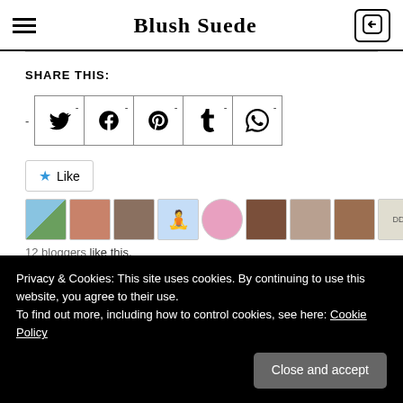Blush Suede
SHARE THIS:
[Figure (infographic): Social share buttons for Twitter, Facebook, Pinterest, Tumblr, and WhatsApp in bordered square icons with dash superscripts]
[Figure (infographic): Like button with star icon and row of 10 blogger avatar thumbnails]
12 bloggers like this.
RELATED
Privacy & Cookies: This site uses cookies. By continuing to use this website, you agree to their use.
To find out more, including how to control cookies, see here: Cookie Policy